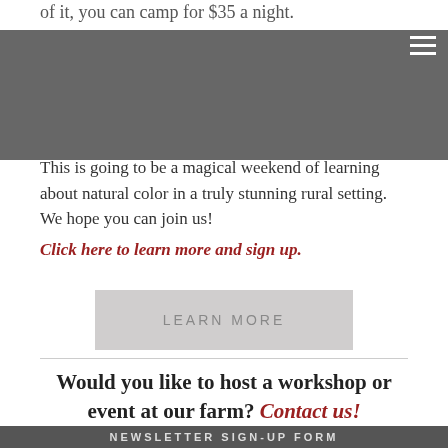of it, you can camp for $35 a night.
HELP US FINISH OUR NEW HERB DRYING BARN!
SUPPORT OUR CROWDFUNDING CAMPAIGN TODAY!
This is going to be a magical weekend of learning about natural color in a truly stunning rural setting. We hope you can join us!
Click here to learn more and sign up.
LEARN MORE
Would you like to host a workshop or event at our farm? Contact us!
NEWSLETTER SIGN-UP FORM